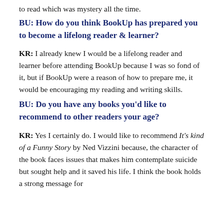to read which was mystery all the time.
BU: How do you think BookUp has prepared you to become a lifelong reader & learner?
KR: I already knew I would be a lifelong reader and learner before attending BookUp because I was so fond of it, but if BookUp were a reason of how to prepare me, it would be encouraging my reading and writing skills.
BU: Do you have any books you'd like to recommend to other readers your age?
KR: Yes I certainly do. I would like to recommend It's kind of a Funny Story by Ned Vizzini because, the character of the book faces issues that makes him contemplate suicide but sought help and it saved his life. I think the book holds a strong message for